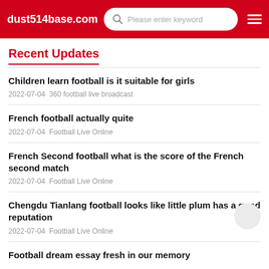dust514base.com  Please enter keyword
Recent Updates
Children learn football is it suitable for girls
2022-07-04  360 football live broadcast
French football actually quite
2022-07-04  Football Live Online
French Second football what is the score of the French second match
2022-07-04  Football Live Online
Chengdu Tianlang football looks like little plum has a good reputation
2022-07-04  Football Live Online
Football dream essay fresh in our memory